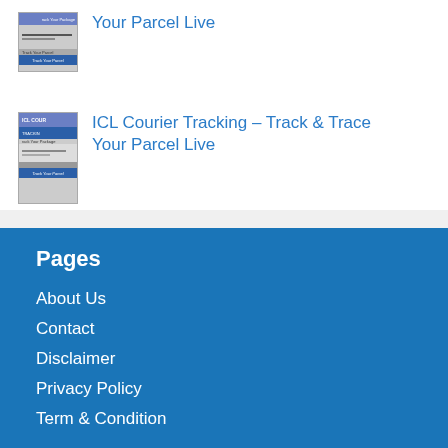[Figure (screenshot): Thumbnail image of ICL Courier Tracking website screenshot]
ICL Courier Tracking – Track & Trace Your Parcel Live
[Figure (screenshot): Thumbnail image of ICL Courier Tracking website screenshot]
ICL Courier Tracking – Track & Trace Your Parcel Live
Pages
About Us
Contact
Disclaimer
Privacy Policy
Term & Condition